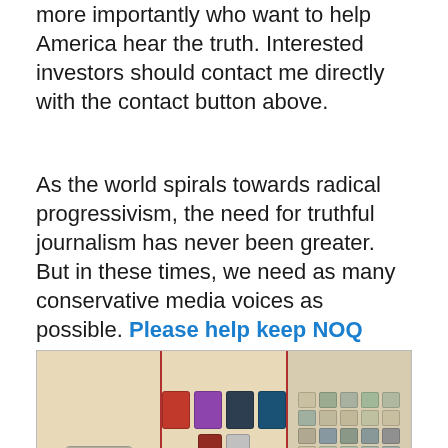more importantly who want to help America hear the truth. Interested investors should contact me directly with the contact button above.
As the world spirals towards radical progressivism, the need for truthful journalism has never been greater. But in these times, we need as many conservative media voices as possible. Please help keep NOQ Report going.
[Figure (photo): Nutrient Survival food products: a can of fortified peanut butter with a bowl, multiple colored packaging bags, a black bucket, and stacked cans of various colors]
Bitcoin: 32SeW2Ain86g4dATWtWreABhEkigxsKUGn